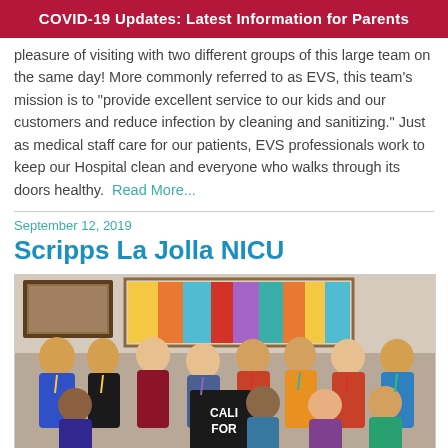COVID-19 Updates: Latest Information for Parents
pleasure of visiting with two different groups of this large team on the same day! More commonly referred to as EVS, this team's mission is to "provide excellent service to our kids and our customers and reduce infection by cleaning and sanitizing." Just as medical staff care for our patients, EVS professionals work to keep our Hospital clean and everyone who walks through its doors healthy.  Read More...
September 12, 2019
Scripps La Jolla NICU
[Figure (photo): Group photo of approximately 12 hospital staff members seated and standing in a room with colorful artwork on the wall behind them. One person holds a black sign reading 'CALI FOR' (California). Staff are wearing lanyards and badges, some in scrubs or colorful clothing.]